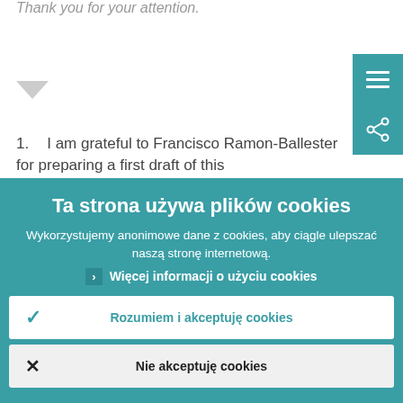Thank you for your attention.
1. I am grateful to Francisco Ramon-Ballester for preparing a first draft of this
Ta strona używa plików cookies
Wykorzystujemy anonimowe dane z cookies, aby ciągle ulepszać naszą stronę internetową.
Więcej informacji o użyciu cookies
Rozumiem i akceptuję cookies
Nie akceptuję cookies